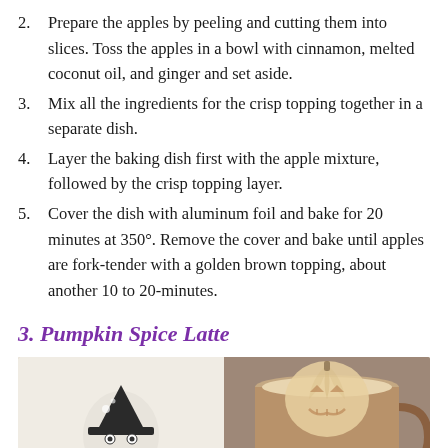2. Prepare the apples by peeling and cutting them into slices. Toss the apples in a bowl with cinnamon, melted coconut oil, and ginger and set aside.
3. Mix all the ingredients for the crisp topping together in a separate dish.
4. Layer the baking dish first with the apple mixture, followed by the crisp topping layer.
5. Cover the dish with aluminum foil and bake for 20 minutes at 350°. Remove the cover and bake until apples are fork-tender with a golden brown topping, about another 10 to 20-minutes.
3. Pumpkin Spice Latte
[Figure (photo): Two Halloween-themed images side by side: on the left a drawn ghost/cat with a witch hat, on the right a latte with a pumpkin jack-o-lantern face drawn in milk foam.]